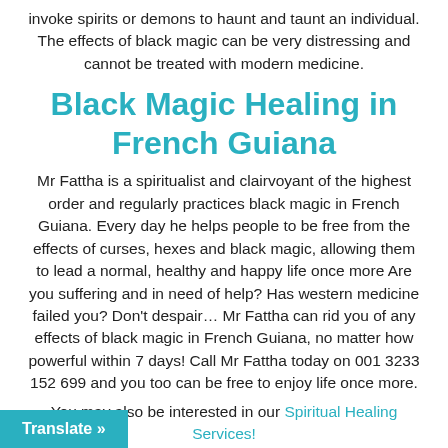invoke spirits or demons to haunt and taunt an individual. The effects of black magic can be very distressing and cannot be treated with modern medicine.
Black Magic Healing in French Guiana
Mr Fattha is a spiritualist and clairvoyant of the highest order and regularly practices black magic in French Guiana. Every day he helps people to be free from the effects of curses, hexes and black magic, allowing them to lead a normal, healthy and happy life once more Are you suffering and in need of help? Has western medicine failed you? Don't despair… Mr Fattha can rid you of any effects of black magic in French Guiana, no matter how powerful within 7 days! Call Mr Fattha today on 001 3233 152 699 and you too can be free to enjoy life once more.
You may also be interested in our Spiritual Healing Services!